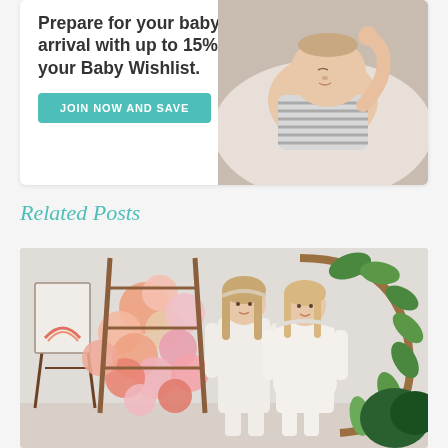[Figure (photo): Promotional banner with white background showing text 'Prepare for your baby's arrival with up to 15% off your Baby Wishlist.' with a teal 'JOIN NOW AND SAVE' button on the left, and a photo of a sleeping newborn baby in striped clothing on the right.]
Related Posts
[Figure (photo): Photo of two women in white dresses standing in front of a balloon arch with pink, peach, and coral balloons and a round wooden frame decorated with greenery. One woman appears to be pregnant. There is a sign on an easel to the left.]